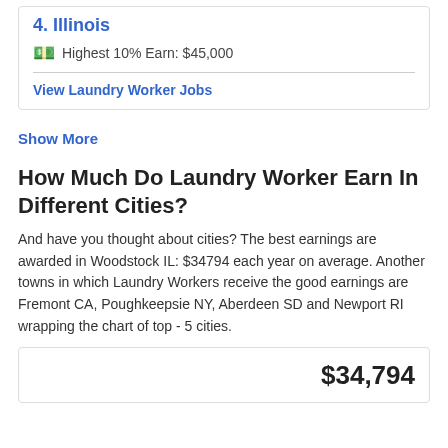4. Illinois
Highest 10% Earn: $45,000
View Laundry Worker Jobs
Show More
How Much Do Laundry Worker Earn In Different Cities?
And have you thought about cities? The best earnings are awarded in Woodstock IL: $34794 each year on average. Another towns in which Laundry Workers receive the good earnings are Fremont CA, Poughkeepsie NY, Aberdeen SD and Newport RI wrapping the chart of top - 5 cities.
$34,794